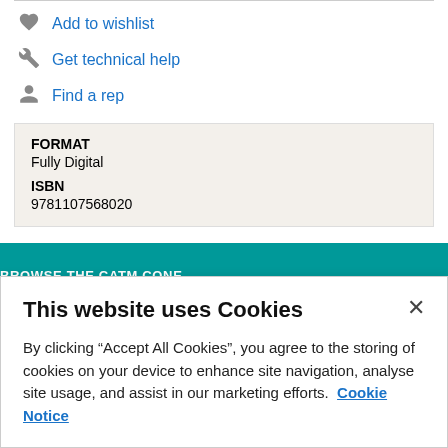Add to wishlist
Get technical help
Find a rep
FORMAT
Fully Digital
ISBN
9781107568020
BROWSE THE CATM CONE
This website uses Cookies
By clicking “Accept All Cookies”, you agree to the storing of cookies on your device to enhance site navigation, analyse site usage, and assist in our marketing efforts.  Cookie Notice